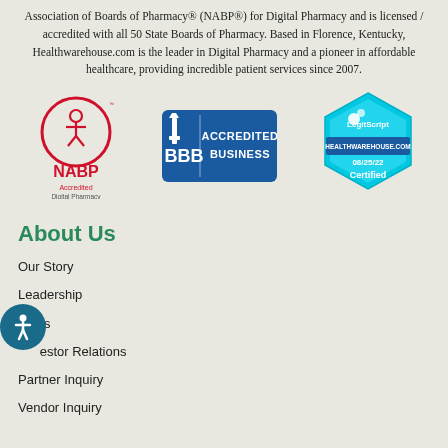Association of Boards of Pharmacy® (NABP®) for Digital Pharmacy and is licensed / accredited with all 50 State Boards of Pharmacy. Based in Florence, Kentucky, Healthwarehouse.com is the leader in Digital Pharmacy and a pioneer in affordable healthcare, providing incredible patient services since 2007.
[Figure (logo): NABP Accredited Digital Pharmacy logo - red circle with mortar and pestle icon, NABP text in red, Accredited Digital Pharmacy below]
[Figure (logo): BBB Accredited Business badge - blue rectangle with BBB torch logo and Accredited Business text]
[Figure (logo): LegitScript hexagon badge - light blue hexagon with LegitScript logo, HEALTHWAREHOUSE.COM text, 08/25/22 date, and Certified text]
About Us
Our Story
Leadership
News
Investor Relations
Partner Inquiry
Vendor Inquiry